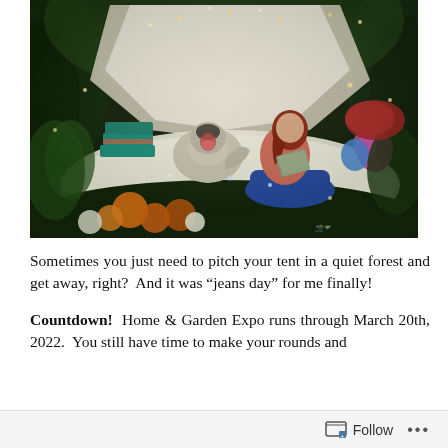[Figure (illustration): A fantasy/digital art illustration showing a young woman with red hair sitting on a white blanket inside a tent pitched in a magical forest. She is reading a book while a husky dog sits beside her with its mouth open. The scene is decorated with fairy lights, colorful flowers (orange, pink, white), green foliage, and teal stacked books. The lighting is ethereal with glowing particles throughout.]
Sometimes you just need to pitch your tent in a quiet forest and get away, right?  And it was “jeans day” for me finally!
Countdown!  Home & Garden Expo runs through March 20th, 2022.  You still have time to make your rounds and